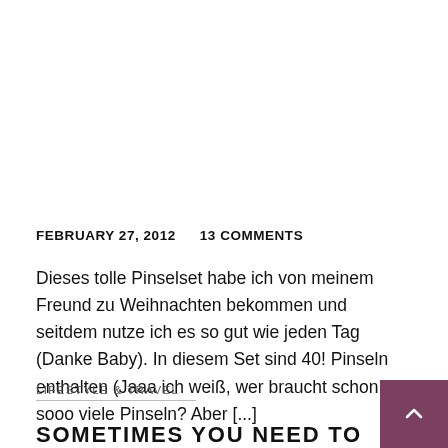FEBRUARY 27, 2012   13 COMMENTS
Dieses tolle Pinselset habe ich von meinem Freund zu Weihnachten bekommen und seitdem nutze ich es so gut wie jeden Tag (Danke Baby). In diesem Set sind 40! Pinseln enthalten (Jaaa ich weiß, wer braucht schon sooo viele Pinseln? Aber [...]
LIFESTYLE & TRAVEL
SOMETIMES YOU NEED TO GET LOST TO